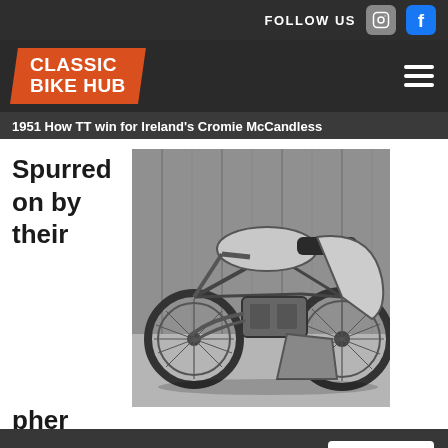FOLLOW US
[Figure (logo): Classic Bike Hub logo — white bold text on orange skewed background]
1951 How TT win for Ireland's Cromie McCandless
Spurred on by their
[Figure (photo): Black and white photograph of a vintage racing motorcycle (sidecar outfit) parked against a wooden wall/shed]
pher
We use cookies to study how our website is being used. By continuing to browse the site you are agreeing to our use of cookies.